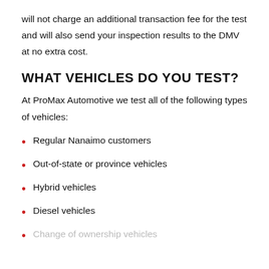will not charge an additional transaction fee for the test and will also send your inspection results to the DMV at no extra cost.
WHAT VEHICLES DO YOU TEST?
At ProMax Automotive we test all of the following types of vehicles:
Regular Nanaimo customers
Out-of-state or province vehicles
Hybrid vehicles
Diesel vehicles
Change of ownership vehicles